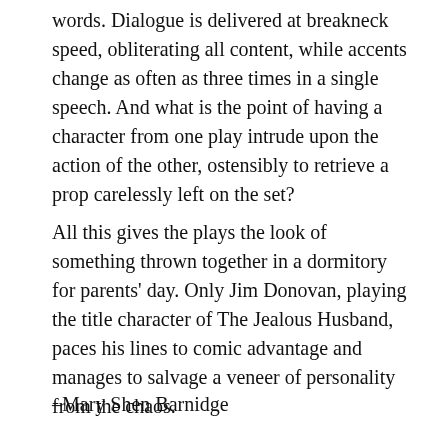words. Dialogue is delivered at breakneck speed, obliterating all content, while accents change as often as three times in a single speech. And what is the point of having a character from one play intrude upon the action of the other, ostensibly to retrieve a prop carelessly left on the set?
All this gives the plays the look of something thrown together in a dormitory for parents' day. Only Jim Donovan, playing the title character of The Jealous Husband, paces his lines to comic advantage and manages to salvage a veneer of personality from the chaos.
–Mary Shen Barnidge